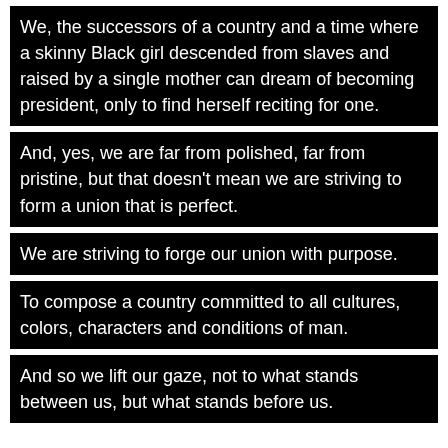We, the successors of a country and a time where a skinny Black girl descended from slaves and raised by a single mother can dream of becoming president, only to find herself reciting for one.
And, yes, we are far from polished, far from pristine, but that doesn't mean we are striving to form a union that is perfect.
We are striving to forge our union with purpose.
To compose a country committed to all cultures, colors, characters and conditions of man.
And so we lift our gaze, not to what stands between us, but what stands before us.